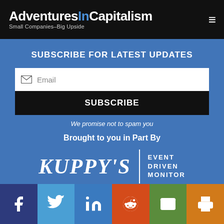AdventuresInCapitalism — Small Companies–Big Upside
SUBSCRIBE FOR LATEST UPDATES
Email
SUBSCRIBE
We promise not to spam you
Brought to you in Part By
[Figure (logo): Kuppy's Event Driven Monitor logo — serif italic white text 'KUPPY'S' with vertical divider and 'EVENT DRIVEN MONITOR' text on right]
Social share buttons: Facebook, Twitter, LinkedIn, Reddit, Email, Print